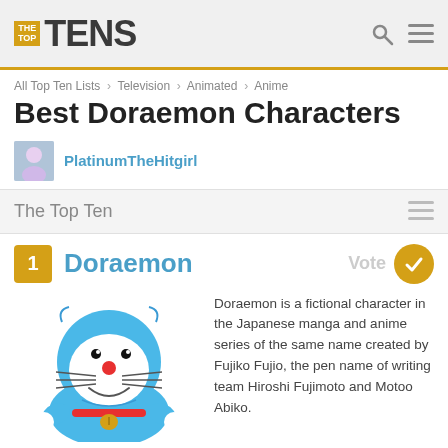TheTopTens
All Top Ten Lists > Television > Animated > Anime
Best Doraemon Characters
PlatinumTheHitgirl
The Top Ten
1 Doraemon
[Figure (illustration): Doraemon cartoon character illustration - blue robotic cat with red nose, whiskers, and collar with bell]
Doraemon is a fictional character in the Japanese manga and anime series of the same name created by Fujiko Fujio, the pen name of writing team Hiroshi Fujimoto and Motoo Abiko.